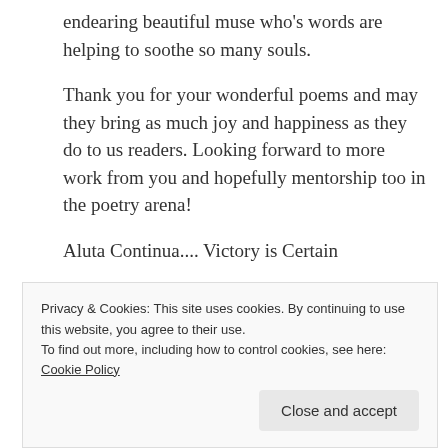endearing beautiful muse who's words are helping to soothe so many souls.
Thank you for your wonderful poems and may they bring as much joy and happiness as they do to us readers. Looking forward to more work from you and hopefully mentorship too in the poetry arena!
Aluta Continua.... Victory is Certain
⭐ Loading...
Privacy & Cookies: This site uses cookies. By continuing to use this website, you agree to their use.
To find out more, including how to control cookies, see here: Cookie Policy
Close and accept